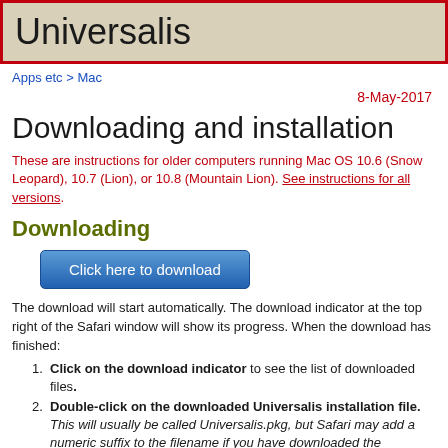Universalis
Apps etc > Mac
8-May-2017
Downloading and installation
These are instructions for older computers running Mac OS 10.6 (Snow Leopard), 10.7 (Lion), or 10.8 (Mountain Lion). See instructions for all versions.
Downloading
[Figure (other): Blue download button labeled 'Click here to download']
The download will start automatically. The download indicator at the top right of the Safari window will show its progress. When the download has finished:
Click on the download indicator to see the list of downloaded files.
Double-click on the downloaded Universalis installation file. This will usually be called Universalis.pkg, but Safari may add a numeric suffix to the filename if you have downloaded the Universalis installer in the past.